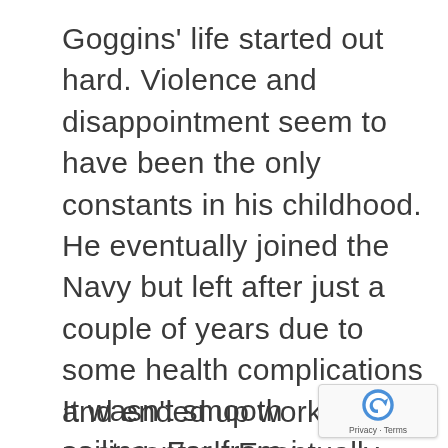Goggins' life started out hard. Violence and disappointment seem to have been the only constants in his childhood. He eventually joined the Navy but left after just a couple of years due to some health complications and ended up working in pest control. Eventually, he was inspired to join the Navy Seals–a decision which lead him to completely upend his life and drop over 100 lbs in three months.
It wasn't smooth sailing. Far from i
[Figure (logo): reCAPTCHA logo with Privacy and Terms text]